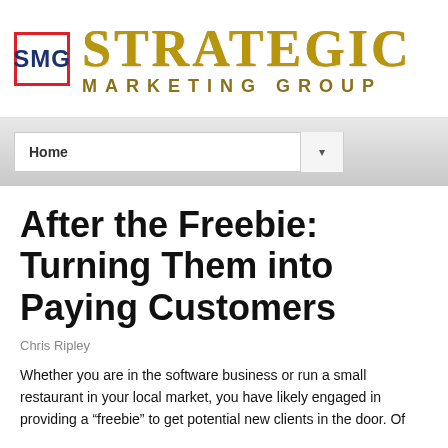[Figure (logo): Strategic Marketing Group logo with SMG initials in blue on white with red border, beside gold text reading STRATEGIC MARKETING GROUP]
Home
After the Freebie: Turning Them into Paying Customers
Chris Ripley
Whether you are in the software business or run a small restaurant in your local market, you have likely engaged in providing a “freebie” to get potential new clients in the door. Of